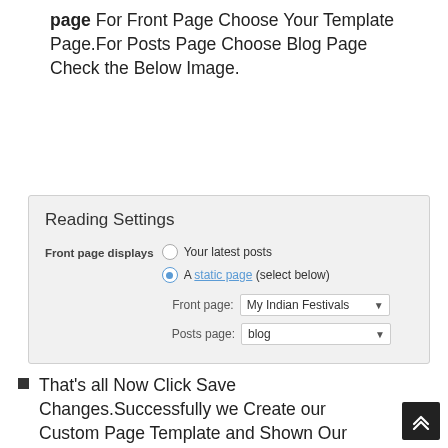page For Front Page Choose Your Template Page.For Posts Page Choose Blog Page Check the Below Image.
[Figure (screenshot): WordPress Reading Settings panel showing front page displays options: 'Your latest posts' (unselected) and 'A static page (select below)' (selected). Front page dropdown shows 'My Indian Festivals', Posts page dropdown shows 'blog'.]
That's all Now Click Save Changes.Successfully we Create our Custom Page Template and Shown Our Custom Designed Page as Our